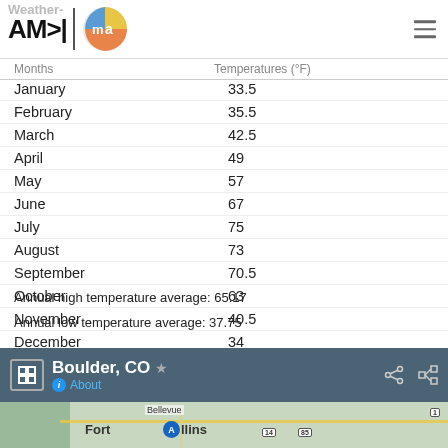AM>| [logo] Weather-
| Months | Temperatures (°F) |
| --- | --- |
| January | 33.5 |
| February | 35.5 |
| March | 42.5 |
| April | 49 |
| May | 57 |
| June | 67 |
| July | 75 |
| August | 73 |
| September | 70.5 |
| October | 63 |
| November | 40.5 |
| December | 34 |
Annual high temperature average: 65.17
Annual low temperature average: 37.75
[Figure (screenshot): Google Maps showing Boulder, CO location with map view of Fort Collins area]